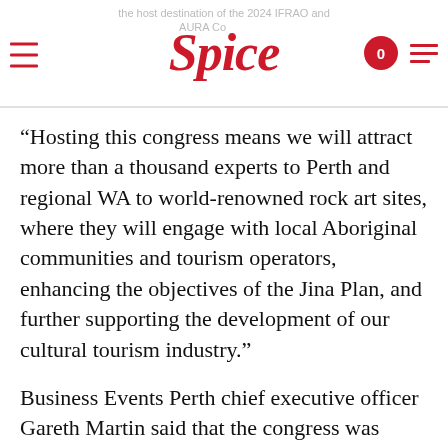the host destination of the 2024 IFRAO and AURA Conference | Spice
“Hosting this congress means we will attract more than a thousand experts to Perth and regional WA to world-renowned rock art sites, where they will engage with local Aboriginal communities and tourism operators, enhancing the objectives of the Jina Plan, and further supporting the development of our cultural tourism industry.”
Business Events Perth chief executive officer Gareth Martin said that the congress was expected to generate upwards of $4.8 million in direct delegate expenditure for WA with associated field excursions generating further economic and social returns for regional areas